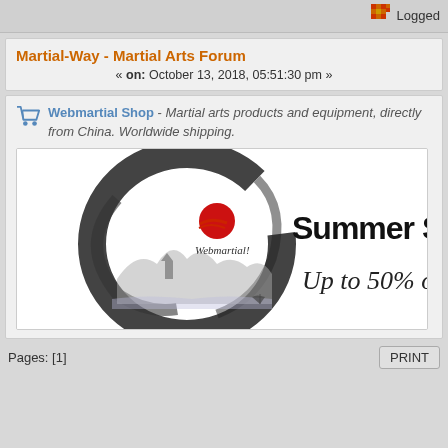Logged
Martial-Way - Martial Arts Forum
« on: October 13, 2018, 05:51:30 pm »
Webmartial Shop - Martial arts products and equipment, directly from China. Worldwide shipping.
[Figure (illustration): Webmartial shop advertisement banner showing Summer Sales - Up to 50% off! with a circular ink brush painting of a landscape and red sun logo.]
Pages: [1]
PRINT